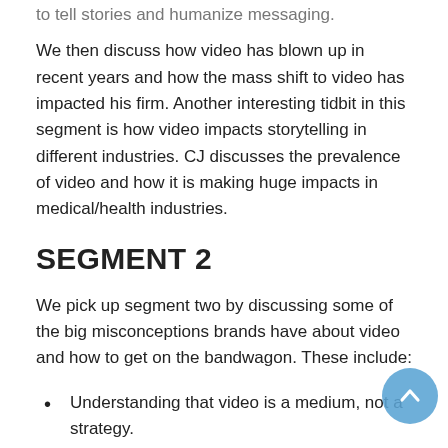We then discuss how video has blown up in recent years and how the mass shift to video has impacted his firm. Another interesting tidbit in this segment is how video impacts storytelling in different industries. CJ discusses the prevalence of video and how it is making huge impacts in medical/health industries.
SEGMENT 2
We pick up segment two by discussing some of the big misconceptions brands have about video and how to get on the bandwagon. These include:
Understanding that video is a medium, not a strategy.
Assuming it has to be short.
We then discuss some of the most important elements to consider as you get the ball rolling. More importantly, the mindset to adopt. Spoiler: Start by